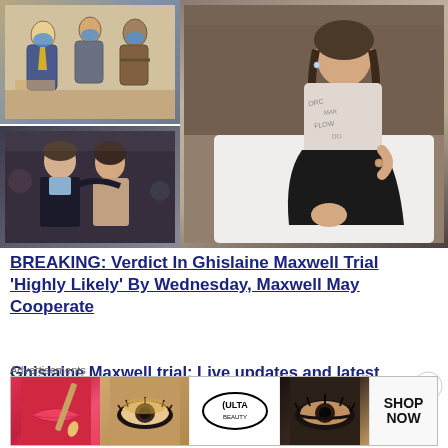[Figure (photo): Collage of four images: top-left shows a courtroom sketch of figures with masks, bottom-left shows a man and woman embracing at an event, right large image shows a woman sitting on a white surface wearing a patterned top and black skirt]
BREAKING: Verdict In Ghislaine Maxwell Trial ‘Highly Likely’ By Wednesday, Maxwell May Cooperate
Ghislaine Maxwell trial: Live updates and latest coverage
Advertisements
[Figure (screenshot): Advertisement banner showing beauty product images with lip makeup, eye makeup, Ulta Beauty logo, and a 'SHOP NOW' button]